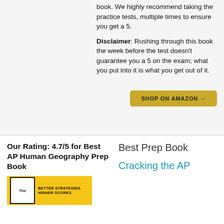book. We highly recommend taking the practice tests, multiple times to ensure you get a 5.
Disclaimer: Rushing through this book the week before the test doesn't guarantee you a 5 on the exam; what you put into it is what you get out of it.
SHOP ON AMAZON →
Our Rating: 4.7/5 for Best AP Human Geography Prep Book
Best Prep Book
[Figure (illustration): Yellow book cover with white inner box labeled 'The' and text 'BETTER STRATEGIES. HIGHER SCORES.']
Cracking the AP